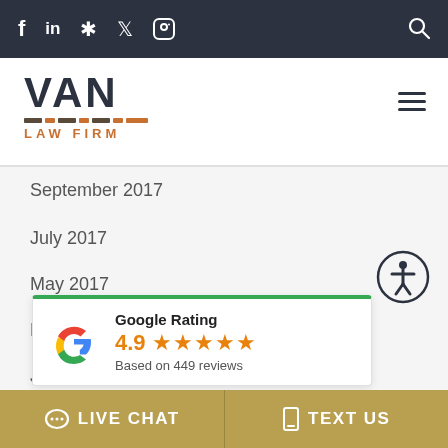f in ★ 🐦 ⬜ [social icons] 🔍
[Figure (logo): VAN LAW FIRM logo with colored bar segments and orange text]
September 2017
July 2017
May 2017
March 2017
January 2017
[Figure (infographic): Google Rating widget showing 4.9 stars based on 449 reviews with Google G logo]
LIVE CHAT   TEXT US